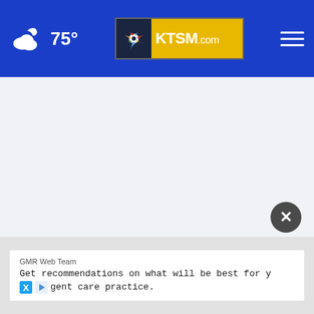75° KTSM.com
[Figure (screenshot): White/light gray empty main content area of KTSM.com website]
[Figure (other): Close button (X) circle button, dark gray]
GMR Web Team
Get recommendations on what will be best for y
gent care practice.